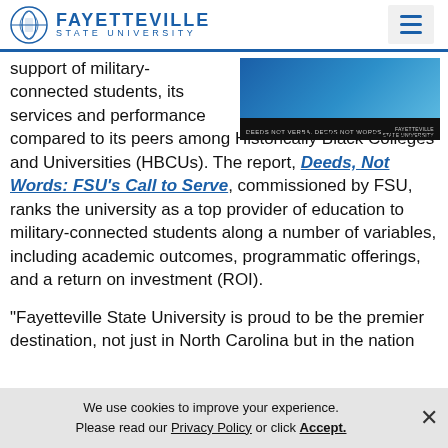Fayetteville State University
[Figure (illustration): Fayetteville State University promotional image with dark blue background and tagline 'Deeds Not Words' at the bottom]
support of military-connected students, its services and performance compared to its peers among Historically Black Colleges and Universities (HBCUs). The report, Deeds, Not Words: FSU's Call to Serve, commissioned by FSU, ranks the university as a top provider of education to military-connected students along a number of variables, including academic outcomes, programmatic offerings, and a return on investment (ROI).

"Fayetteville State University is proud to be the premier destination, not just in North Carolina but in the nation
We use cookies to improve your experience. Please read our Privacy Policy or click Accept.